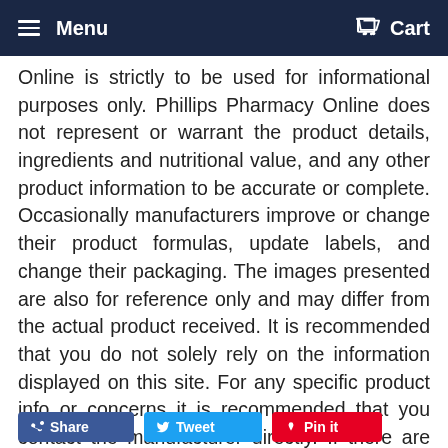Menu  Cart
Online is strictly to be used for informational purposes only. Phillips Pharmacy Online does not represent or warrant the product details, ingredients and nutritional value, and any other product information to be accurate or complete. Occasionally manufacturers improve or change their product formulas, update labels, and change their packaging. The images presented are also for reference only and may differ from the actual product received. It is recommended that you do not solely rely on the information displayed on this site. For any specific product info or concerns it is recommended that you contact the manufacturer directly. If there are healthcare concerns or questions, please contact your licensed healthcare professional or our in-house Registered Pharmacist for advice.